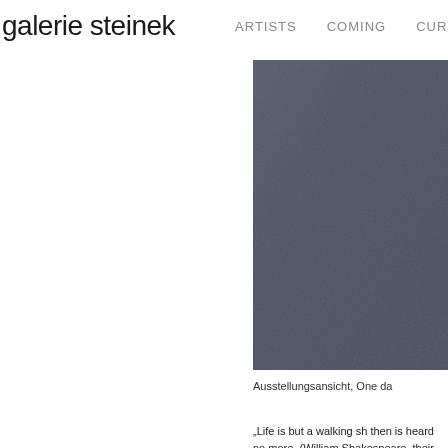galerie steinek   ARTISTS   COMING   CURRENT
[Figure (photo): Dark blue-grey textured artwork or painting, partially visible on the right side of the page]
Ausstellungsansicht, One da
„Life is but a walking sh then is heard no more. (William Shakespeare, their own way, one of th Self-proclaimed „artist o himself in many ways, i he does not hesitate to lovers of good taste: „C your furniture and your their own image, the fi